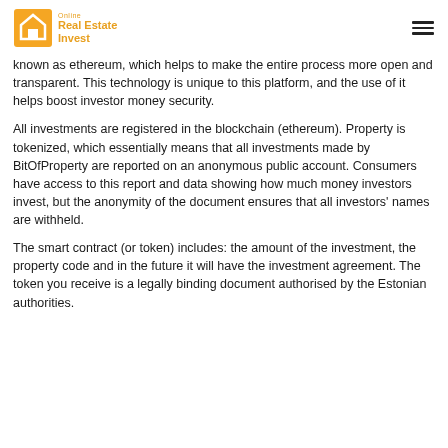Online Real Estate Invest
known as ethereum, which helps to make the entire process more open and transparent. This technology is unique to this platform, and the use of it helps boost investor money security.
All investments are registered in the blockchain (ethereum). Property is tokenized, which essentially means that all investments made by BitOfProperty are reported on an anonymous public account. Consumers have access to this report and data showing how much money investors invest, but the anonymity of the document ensures that all investors' names are withheld.
The smart contract (or token) includes: the amount of the investment, the property code and in the future it will have the investment agreement. The token you receive is a legally binding document authorised by the Estonian authorities.